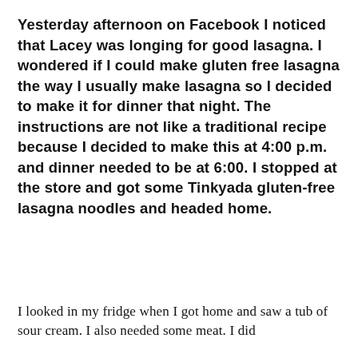Yesterday afternoon on Facebook I noticed that Lacey was longing for good lasagna. I wondered if I could make gluten free lasagna the way I usually make lasagna so I decided to make it for dinner that night. The instructions are not like a traditional recipe because I decided to make this at 4:00 p.m. and dinner needed to be at 6:00. I stopped at the store and got some Tinkyada gluten-free lasagna noodles and headed home.
I looked in my fridge when I got home and saw a tub of sour cream. I also needed some meat. I did